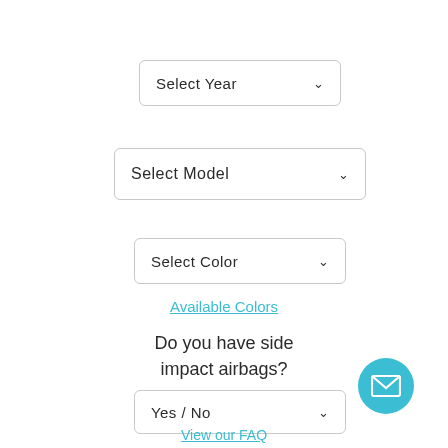[Figure (screenshot): Dropdown selector labeled 'Select Year' with chevron arrow]
[Figure (screenshot): Dropdown selector labeled 'Select Model' with chevron arrow]
[Figure (screenshot): Dropdown selector labeled 'Select Color' with chevron arrow]
Available Colors
Do you have side impact airbags?
[Figure (screenshot): Dropdown selector labeled 'Yes / No' with chevron arrow]
View our FAQ
[Figure (illustration): Circular teal mail/envelope icon button in bottom right corner]